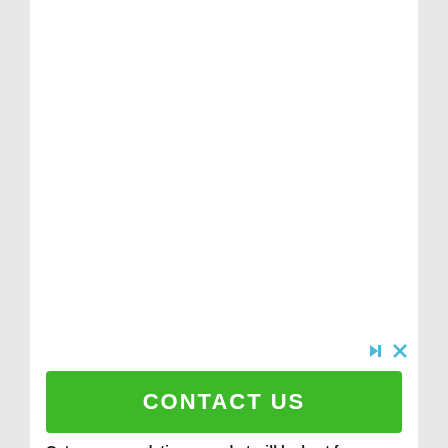[Figure (other): Advertisement button: green CONTACT US button with ad controls (skip and close icons) in upper right]
Get recommendations on what will be best for your urgent care practice.
Ad